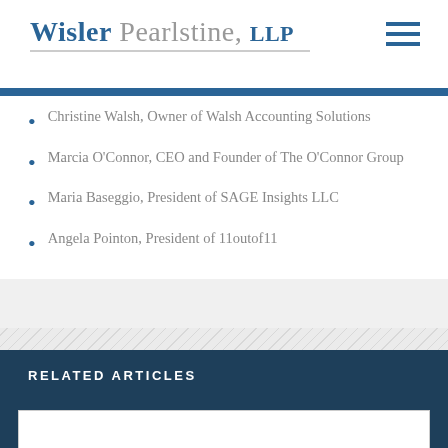Wisler Pearlstine, LLP
Christine Walsh, Owner of Walsh Accounting Solutions
Marcia O'Connor, CEO and Founder of The O'Connor Group
Maria Baseggio, President of SAGE Insights LLC
Angela Pointon, President of 11outof11
RELATED ARTICLES